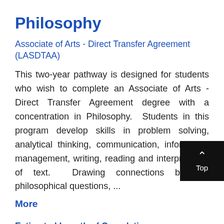Philosophy
Associate of Arts - Direct Transfer Agreement (LASDTAA)
This two-year pathway is designed for students who wish to complete an Associate of Arts - Direct Transfer Agreement degree with a concentration in Philosophy.  Students in this program develop skills in problem solving, analytical thinking, communication, information management, writing, reading and interpretation of text.  Drawing connections between philosophical questions, ...
More
Estimated Length of Completion
| Degree | Quarters | Units |
| --- | --- | --- |